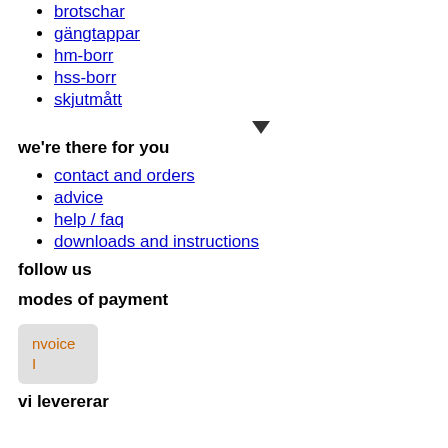brotschar
gängtappar
hm-borr
hss-borr
skjutmått
we're there for you
contact and orders
advice
help / faq
downloads and instructions
follow us
modes of payment
[Figure (other): Invoice payment logo button, grey rounded rectangle with orange text 'nvoice l']
vi levererar